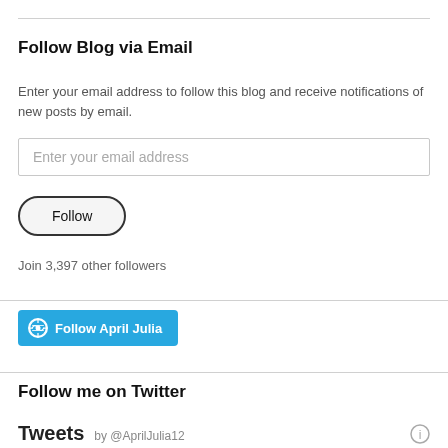Follow Blog via Email
Enter your email address to follow this blog and receive notifications of new posts by email.
[Figure (other): Email input field with placeholder text 'Enter your email address']
[Figure (other): Follow button with rounded pill shape]
Join 3,397 other followers
[Figure (other): WordPress Follow April Julia button in blue]
Follow me on Twitter
Tweets by @AprilJulia12